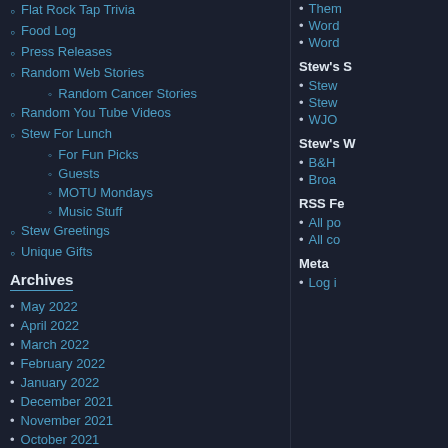Flat Rock Tap Trivia
Food Log
Press Releases
Random Web Stories
Random Cancer Stories
Random You Tube Videos
Stew For Lunch
For Fun Picks
Guests
MOTU Mondays
Music Stuff
Stew Greetings
Unique Gifts
Archives
May 2022
April 2022
March 2022
February 2022
January 2022
December 2021
November 2021
October 2021
September 2021
August 2021
July 2021
Them
Word
Word
Stew's S
Stew
Stew
WJO
Stew's W
B&H
Broa
RSS Fe
All po
All co
Meta
Log in